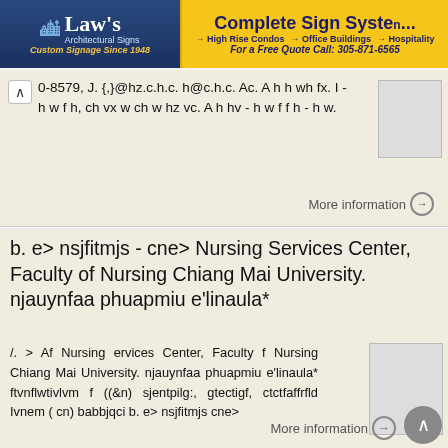[Figure (other): Law's Architectural Signs advertisement banner with Complete Sign System ad]
0-8579, J. {,}@hz.c.h.c. h@c.h.c. Ac. A h h wh fx. I - h w f h, ch vx w ch w hz vc. A h hv - h w f f h - h w.
More information →
b. e> nsjfitmjs - cne> Nursing Services Center, Faculty of Nursing Chiang Mai University. njauynfaa phuapmiu e'linaula*
/. > Af Nursing ervices Center, Faculty f Nursing Chiang Mai University. njauynfaa phuapmiu e'linaula* ftvnflwtivlvm f ((&n) sjentpilg:, gtectigf, ctctfaffrfld Ivnem ( cn) babbjqci b. e> nsjfitmjs cne>
More information →